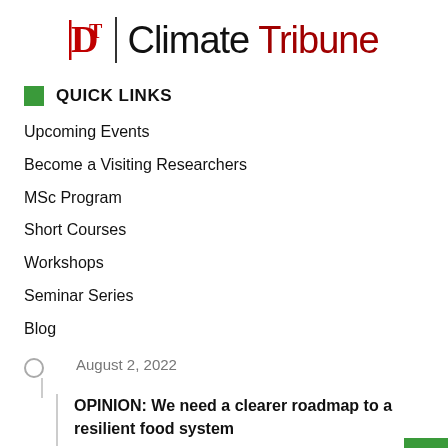DT | Climate Tribune
QUICK LINKS
Upcoming Events
Become a Visiting Researchers
MSc Program
Short Courses
Workshops
Seminar Series
Blog
August 2, 2022
OPINION: We need a clearer roadmap to a resilient food system
July 14, 2022